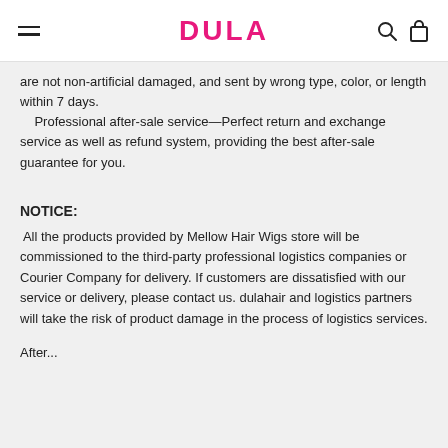DULA
are not non-artificial damaged, and sent by wrong type, color, or length within 7 days.
    Professional after-sale service—Perfect return and exchange service as well as refund system, providing the best after-sale guarantee for you.
NOTICE:
All the products provided by Mellow Hair Wigs store will be commissioned to the third-party professional logistics companies or Courier Company for delivery. If customers are dissatisfied with our service or delivery, please contact us. dulahair and logistics partners will take the risk of product damage in the process of logistics services.
After...